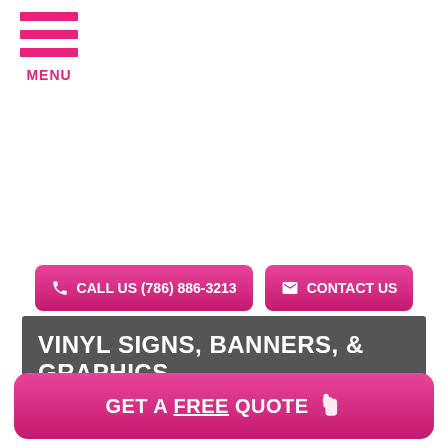[Figure (other): Hamburger menu icon with three pink horizontal bars and MENU label below in pink]
CALL US (786) 886-3213
CONTACT US
VINYL SIGNS, BANNERS, & GRAPHICS
GET A FREE QUOTE